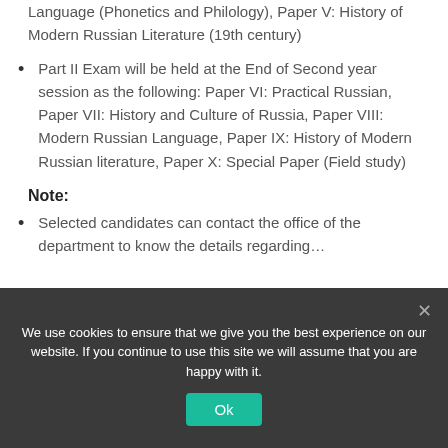Language (Phonetics and Philology), Paper V: History of Modern Russian Literature (19th century)
Part II Exam will be held at the End of Second year session as the following: Paper VI: Practical Russian, Paper VII: History and Culture of Russia, Paper VIII: Modern Russian Language, Paper IX: History of Modern Russian literature, Paper X: Special Paper (Field study)
Note:
Selected candidates can contact the office of the department to know the details regarding…
We use cookies to ensure that we give you the best experience on our website. If you continue to use this site we will assume that you are happy with it.